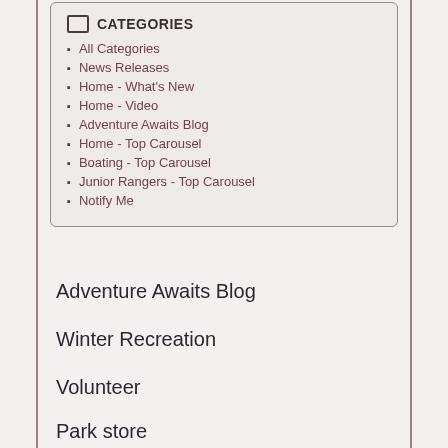CATEGORIES
All Categories
News Releases
Home - What's New
Home - Video
Adventure Awaits Blog
Home - Top Carousel
Boating - Top Carousel
Junior Rangers - Top Carousel
Notify Me
Adventure Awaits Blog
Winter Recreation
Volunteer
Park store